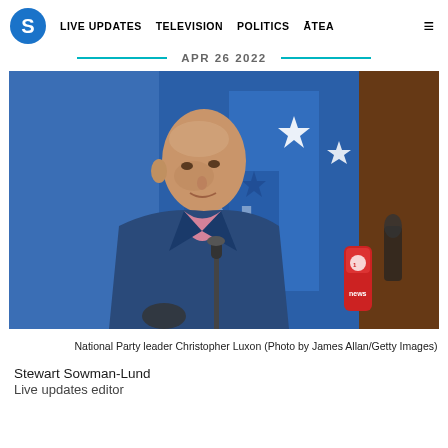S | LIVE UPDATES   TELEVISION   POLITICS   ĀTEA   ≡
APR 26 2022
[Figure (photo): National Party leader Christopher Luxon speaking at a podium with microphones, in front of a blue banner with stars. A red OneNews microphone is visible on the right.]
National Party leader Christopher Luxon (Photo by James Allan/Getty Images)
Stewart Sowman-Lund
Live updates editor